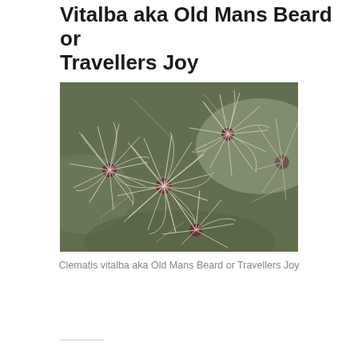Vitalba aka Old Mans Beard or Travellers Joy
SEPTEMBER 10, 2014 / JULIE
[Figure (photo): Close-up photograph of Clematis vitalba seed heads showing fluffy white feathery filaments with dark reddish-brown centres, clustered together against a blurred green background.]
Clematis vitalba aka Old Mans Beard or Travellers Joy